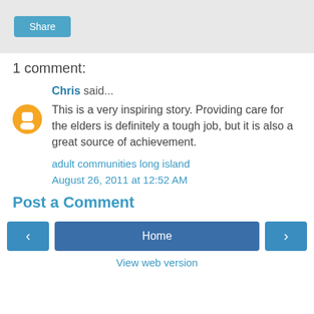[Figure (other): Share button on a light grey background bar]
1 comment:
Chris said...
This is a very inspiring story. Providing care for the elders is definitely a tough job, but it is also a great source of achievement.
adult communities long island
August 26, 2011 at 12:52 AM
Post a Comment
[Figure (other): Navigation bar with left arrow, Home button, and right arrow, plus View web version link]